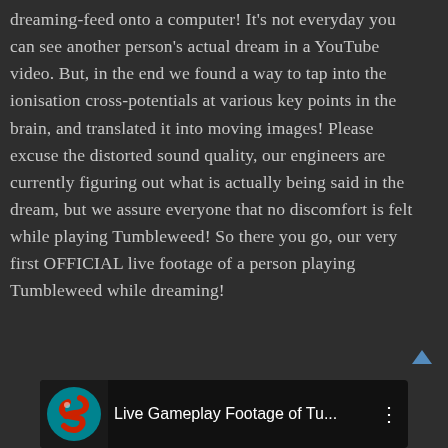dreaming-feed onto a computer! It's not everyday you can see another person's actual dream in a YouTube video. But, in the end we found a way to tap into the ionisation cross-potentials at various key points in the brain, and translated it into moving images! Please excuse the distorted sound quality, our engineers are currently figuring out what is actually being said in the dream, but we assure everyone that no discomfort is felt while playing Tumbleweed! So there you go, our very first OFFICIAL live footage of a person playing Tumbleweed while dreaming!
[Figure (screenshot): Video thumbnail showing a YouTube-style video player bar with a red and teal swirling logo on the left, the title 'Live Gameplay Footage of Tu...' in white text, and a three-dot menu icon on the right, all on a black background.]